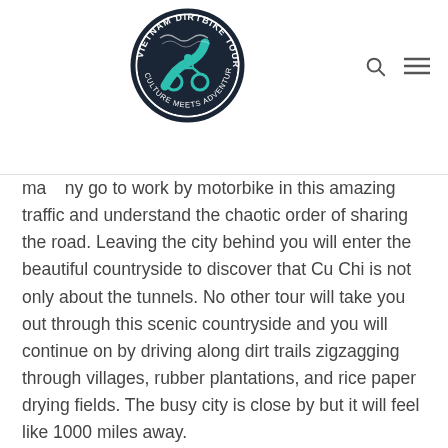[Figure (logo): Vietnam Dirtbike Tours circular logo with a motorbike silhouette and teal snake road graphic, dark navy background with white text around the border reading 'VIETNAM DIRTBIKE TOURS' and 'CULTURE MEETS ADVENTURE']
many go to work by motorbike in this amazing traffic and understand the chaotic order of sharing the road. Leaving the city behind you will enter the beautiful countryside to discover that Cu Chi is not only about the tunnels. No other tour will take you out through this scenic countryside and you will continue on by driving along dirt trails zigzagging through villages, rubber plantations, and rice paper drying fields. The busy city is close by but it will feel like 1000 miles away.
Upon getting to the tunnels, you will explore this underground labyrinth of tunnels with our guide taking you to the original size entrance, crawling